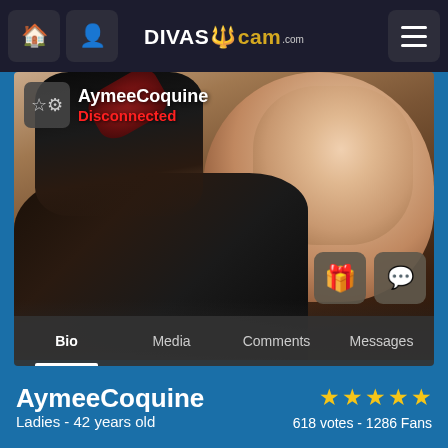DivasCam.com navigation bar with home, profile, logo, and menu buttons
[Figure (screenshot): Profile photo of AymeeCoquine showing a woman in black lingerie lying on a bed, with username overlay, star/settings button, Disconnected status label in red, and gift/chat action buttons.]
AymeeCoquine
Disconnected
Bio | Media | Comments | Messages
AymeeCoquine
Ladies - 42 years old
★★★★★
618 votes - 1286 Fans